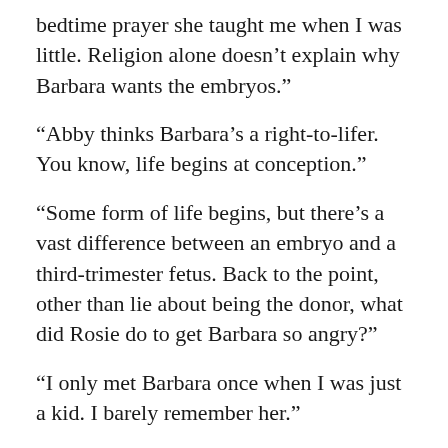bedtime prayer she taught me when I was little. Religion alone doesn’t explain why Barbara wants the embryos.”
“Abby thinks Barbara’s a right-to-lifer. You know, life begins at conception.”
“Some form of life begins, but there’s a vast difference between an embryo and a third-trimester fetus. Back to the point, other than lie about being the donor, what did Rosie do to get Barbara so angry?”
“I only met Barbara once when I was just a kid. I barely remember her.”
“Then I guess we’re just going to have to go